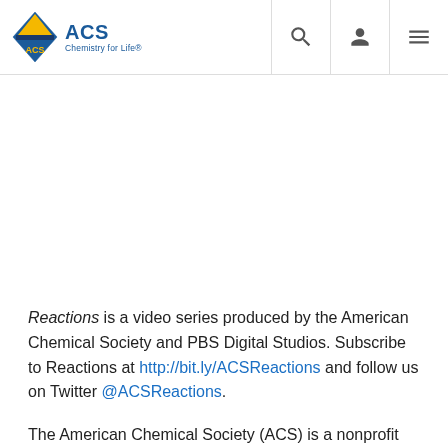ACS Chemistry for Life
Reactions is a video series produced by the American Chemical Society and PBS Digital Studios. Subscribe to Reactions at http://bit.ly/ACSReactions and follow us on Twitter @ACSReactions.
The American Chemical Society (ACS) is a nonprofit